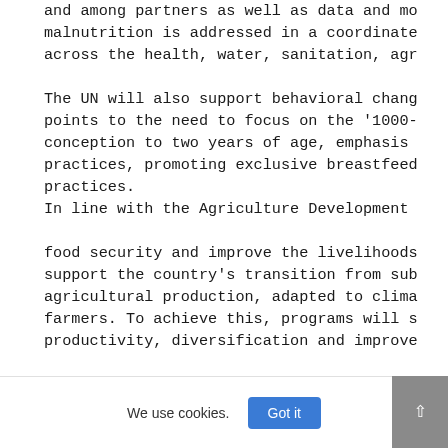and among partners as well as data and mo malnutrition is addressed in a coordinate across the health, water, sanitation, agr
The UN will also support behavioral chang points to the need to focus on the '1000- conception to two years of age, emphasis practices, promoting exclusive breastfeed practices. In line with the Agriculture Development
food security and improve the livelihoods support the country's transition from sub agricultural production, adapted to clima farmers. To achieve this, programs will s productivity, diversification and improve
of for of i t d
We use cookies.